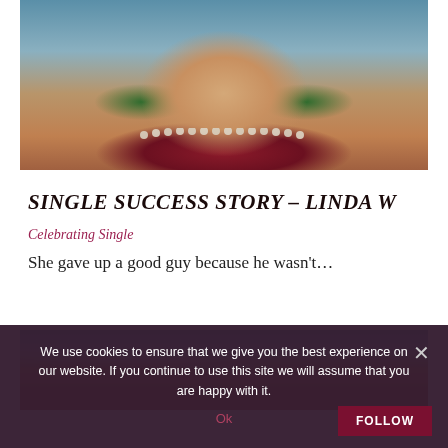[Figure (photo): Portrait photo of a woman smiling, wearing a pearl necklace and red top, with a green background]
SINGLE SUCCESS STORY – LINDA W
Celebrating Single
She gave up a good guy because he wasn't…
[Figure (photo): Outdoor photo showing a cloudy sky with a pinkish-orange sunset horizon, likely a beach or open landscape scene]
We use cookies to ensure that we give you the best experience on our website. If you continue to use this site we will assume that you are happy with it.
OK
FOLLOW